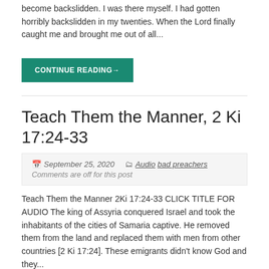become backslidden.  I was there myself.  I had gotten horribly backslidden in my twenties.  When the Lord finally caught me and brought me out of all...
CONTINUE READING→
Teach Them the Manner, 2 Ki 17:24-33
September 25, 2020   Audio bad preachers
Comments are off for this post
Teach Them the Manner 2Ki 17:24-33 CLICK TITLE FOR AUDIO The king of Assyria conquered Israel and took the inhabitants of the cities of Samaria captive.  He removed them from the land and replaced them with men from other countries [2 Ki 17:24].  These emigrants didn't know God and they...
CONTINUE READING→